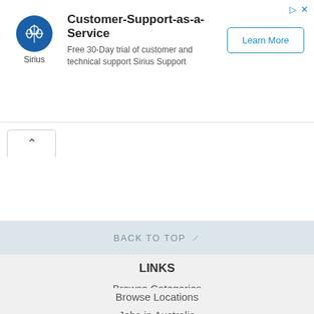[Figure (other): Sirius Support advertisement banner with logo, title, description, and Learn More button]
BACK TO TOP ≫
LINKS
Browse Categories
Browse Locations
Jobs in Australia
Our Global Network
Public Holidays in Australia
NSW Lotteries
NSW Lotteries Results